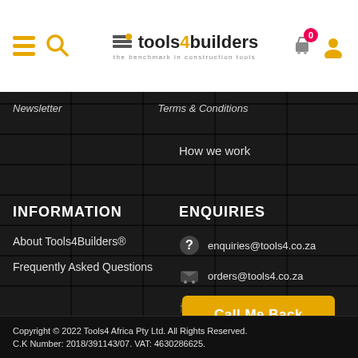[Figure (logo): Tools4Builders logo with hamburger menu, search icon, cart with 0 badge, and user icon in white header bar]
Newsletter
Terms & Conditions
How we work
INFORMATION
ENQUIRIES
About Tools4Builders®
Frequently Asked Questions
enquiries@tools4.co.za
orders@tools4.co.za
payments@tools4.co.za
Call Me Back
Copyright © 2022 Tools4 Africa Pty Ltd. All Rights Reserved. C.K Number: 2018/391143/07. VAT: 4630286625.